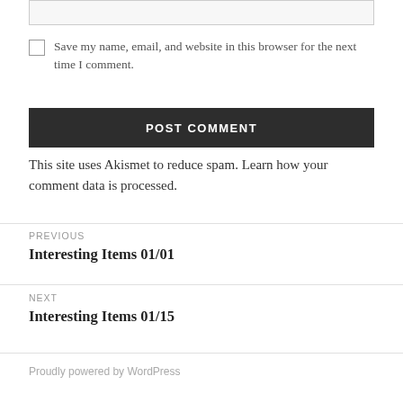Save my name, email, and website in this browser for the next time I comment.
POST COMMENT
This site uses Akismet to reduce spam. Learn how your comment data is processed.
PREVIOUS
Interesting Items 01/01
NEXT
Interesting Items 01/15
Proudly powered by WordPress